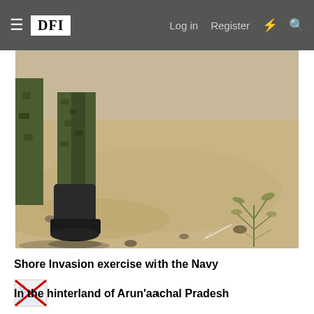≡ DFI  Log in  Register  ⚡  🔍
[Figure (photo): Close-up photo of a soldier in camouflage uniform with military boots stepping on sandy desert ground with small desert shrub nearby.]
Shore Invasion exercise with the Navy
[Figure (other): Broken/missing image placeholder icon]
In the hinterland of Arun'aachal Pradesh
[Figure (other): Broken/missing image placeholder icon]
Snake eating at the CIJWS, Assam